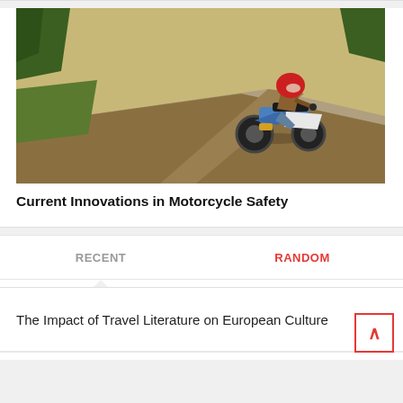[Figure (photo): Motorcyclist riding a dirt bike on an outdoor dirt track with a steep dirt hillside in the background and green trees/grass visible]
Current Innovations in Motorcycle Safety
RECENT    RANDOM
The Impact of Travel Literature on European Culture